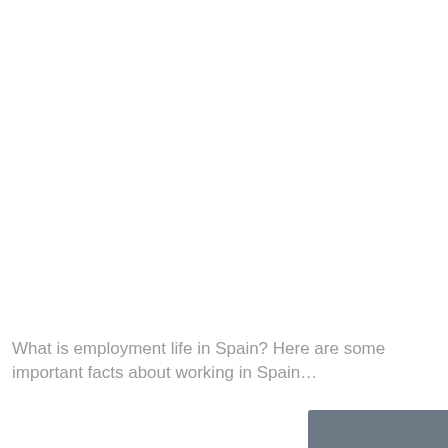What is employment life in Spain? Here are some important facts about working in Spain…